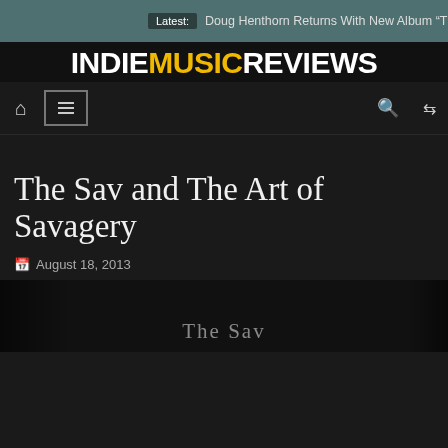Latest: Doug Henthorn Returns With New Album “Three”
[Figure (logo): Indie Music Reviews logo — INDIE in white grunge font, MUSIC in yellow grunge font, REVIEWS in white grunge font on black background]
[Figure (screenshot): Navigation bar with home icon, hamburger menu icon, search icon, and shuffle icon]
The Sav and The Art of Savagery
August 18, 2013
[Figure (photo): Partial photo of The Sav with text 'The Sav' overlaid at the bottom]